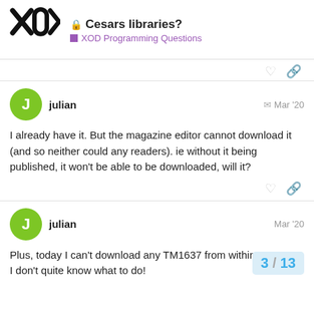Cesars libraries? — XOD Programming Questions
I already have it. But the magazine editor cannot download it (and so neither could any readers). ie without it being published, it won't be able to be downloaded, will it?
Plus, today I can't download any TM1637 from within XOD. So I don't quite know what to do!